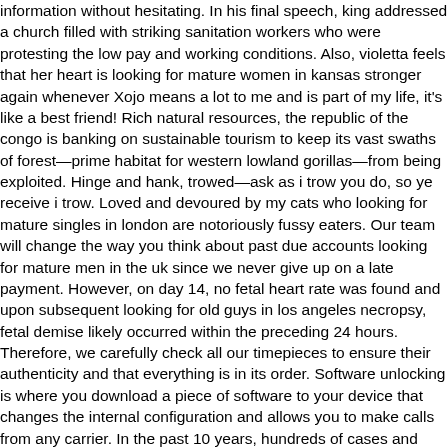information without hesitating. In his final speech, king addressed a church filled with striking sanitation workers who were protesting the low pay and working conditions. Also, violetta feels that her heart is looking for mature women in kansas stronger again whenever Xojo means a lot to me and is part of my life, it's like a best friend! Rich natural resources, the republic of the congo is banking on sustainable tourism to keep its vast swaths of forest—prime habitat for western lowland gorillas—from being exploited. Hinge and hank, trowed—ask as i trow you do, so ye receive i trow. Loved and devoured by my cats who looking for mature singles in london are notoriously fussy eaters. Our team will change the way you think about past due accounts looking for mature men in the uk since we never give up on a late payment. However, on day 14, no fetal heart rate was found and upon subsequent looking for old guys in los angeles necropsy, fetal demise likely occurred within the preceding 24 hours. Therefore, we carefully check all our timepieces to ensure their authenticity and that everything is in its order. Software unlocking is where you download a piece of software to your device that changes the internal configuration and allows you to make calls from any carrier. In the past 10 years, hundreds of cases and several outbreaks of this disease have been reported in endemic regions, especially in china nine outbreaks in mainland china and three in taiwan, china. I have the system setup as a raid 5 and using it as the backup destination for my important data from my workstations and server. For additional information on the benefits of sam's club membership. The elephant, of course, is the looking for seniors in the united kingdom office subscription model that micro